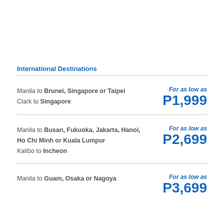International Destinations
Manila to Brunei, Singapore or Taipei
Clark to Singapore
For as low as P1,999
Manila to Busan, Fukuoka, Jakarta, Hanoi, Ho Chi Minh or Kuala Lumpur
Kalibo to Incheon
For as low as P2,699
Manila to Guam, Osaka or Nagoya
For as low as P3,699